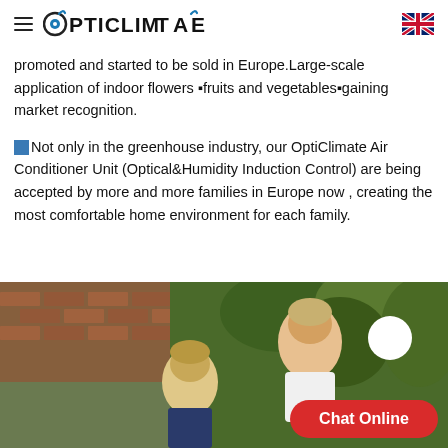OPTICLIMATE
promoted and started to be sold in Europe.Large-scale application of indoor flowers ■fruits and vegetables■gaining market recognition.
■Not only in the greenhouse industry, our OptiClimate Air Conditioner Unit (Optical&Humidity Induction Control) are being accepted by more and more families in Europe now , creating the most comfortable home environment for each family.
[Figure (photo): Two young children outdoors in a garden setting with brick wall and green plants in the background. A white circular element and a red 'Chat Online' button overlay appear in the bottom-right area of the image.]